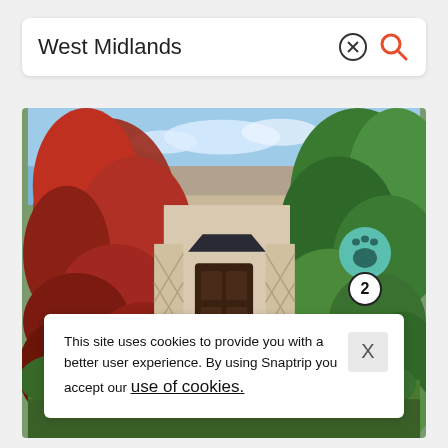West Midlands
[Figure (photo): A cottage or house exterior surrounded by vibrant red and green trees/foliage in autumn, with a dark wooden door visible in the center background.]
This site uses cookies to provide you with a better user experience. By using Snaptrip you accept our use of cookies.